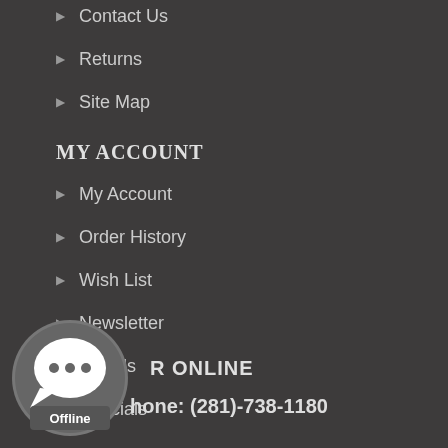Contact Us
Returns
Site Map
MY ACCOUNT
My Account
Order History
Wish List
Newsletter
Brands
Specials
[Figure (illustration): Chat bubble icon with offline status indicator showing three dots and 'Offline' label]
R ONLINE
hone: (281)-738-1180